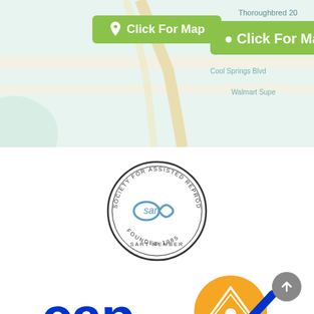[Figure (screenshot): Map screenshot showing street map with location markers, street names including Thoroughbred 20, Cool Springs Blvd, Walmart Supercenter, Whole Foods Market]
Click For Map
[Figure (logo): SART (Society for Assisted Reproductive Technology) circular seal logo, Founded 1985, SART Member]
[Figure (logo): CAP Accredited logo with blue text 'cap' and orange/blue checkmark triangle badge, 'ACCREDITED' text below]
[Figure (logo): Optum logo with orange/gold geometric diamond shape and 'OPTUM' text in grey with registered trademark symbol]